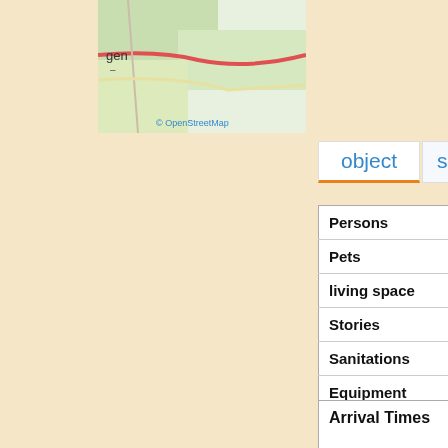[Figure (map): OpenStreetMap tile showing a region with 'gen' label visible and a red road line, with © OpenStreetMap attribution]
© OpenStreetMap
object
seas...
| Property | Value |
| --- | --- |
| Persons | 5 |
| Pets | yes |
| living space | ca 65 |
| Stories | 1 |
| Sanitations | Bathr... |
| Equipment | Dish...
Coffe...
home... |
| Bedrooms | 2 |
| Beds | • 
• 
•  |
| Arrival Times |
| --- |
| • |